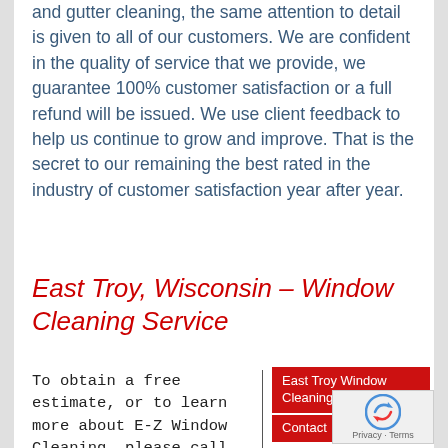and gutter cleaning, the same attention to detail is given to all of our customers. We are confident in the quality of service that we provide, we guarantee 100% customer satisfaction or a full refund will be issued. We use client feedback to help us continue to grow and improve. That is the secret to our remaining the best rated in the industry of customer satisfaction year after year.
East Troy, Wisconsin – Window Cleaning Service
To obtain a free estimate, or to learn more about E-Z Window Cleaning, please call us at (262)349-9411 or email
East Troy Window Cleaning Contact
East Troy Chamber of Commerce